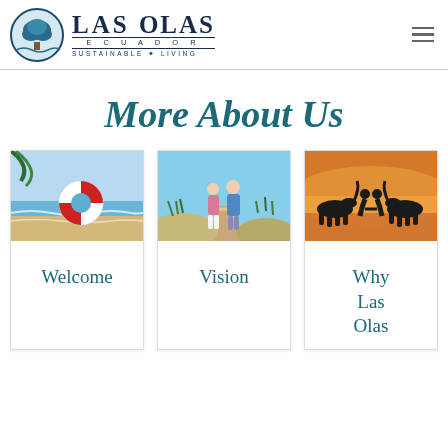[Figure (logo): Las Olas Ecuador logo with circular tree emblem and text 'Las Olas Ecuador - Sustainable + Living']
More About Us
[Figure (photo): Beach scene with a red and white life preserver ring on sandy beach with ocean waves]
Welcome
[Figure (photo): Elderly couple holding hands walking on a sandy path surrounded by dune grass under blue sky]
Vision
[Figure (photo): Silhouette of a couple with horses standing in water at sunset with golden sky]
Why Las Olas